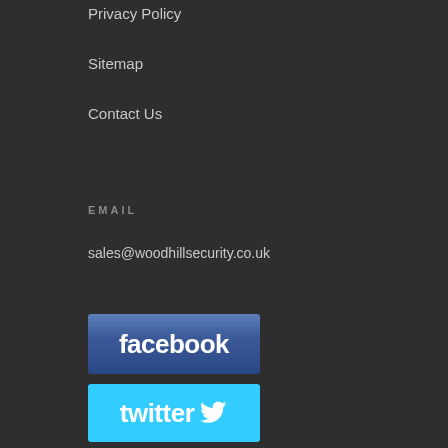Privacy Policy
Sitemap
Contact Us
EMAIL
sales@woodhillsecurity.co.uk
[Figure (logo): Facebook logo button - blue rectangular button with white 'facebook' text]
[Figure (logo): Twitter logo button - cyan rectangular button with white 'twitter' text and bird icon]